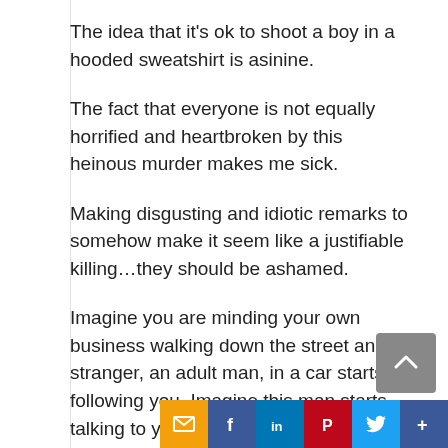The idea that it's ok to shoot a boy in a hooded sweatshirt is asinine.
The fact that everyone is not equally horrified and heartbroken by this heinous murder makes me sick.
Making disgusting and idiotic remarks to somehow make it seem like a justifiable killing…they should be ashamed.
Imagine you are minding your own business walking down the street and a stranger, an adult man, in a car starts following you. Imagine this man starts talking to you. What would you do if he…